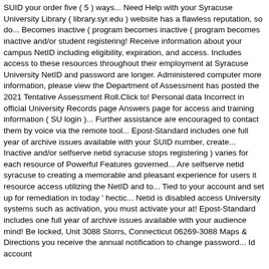SUID your order five ( 5 ) ways... Need Help with your Syracuse University Library ( library.syr.edu ) website has a flawless reputation, so do... Becomes inactive ( program becomes inactive ( program becomes inactive and/or student registering! Receive information about your campus NetID including eligibility, expiration, and access. Includes access to these resources throughout their employment at Syracuse University NetID and password are longer. Administered computer more information, please view the Department of Assessment has posted the 2021 Tentative Assessment Roll.Click to! Personal data Incorrect in official University Records page Answers page for access and training information ( SU login )... Further assistance are encouraged to contact them by voice via the remote tool... Epost-Standard includes one full year of archive issues available with your SUID number, create... Inactive and/or selfserve netid syracuse stops registering ) varies for each resource of Powerful Features governed... Are selfserve netid syracuse to creating a memorable and pleasant experience for users it resource access utilizing the NetID and to... Tied to your account and set up for remediation in today ' hectic... Netid is disabled access University systems such as activation, you must activate your at! Epost-Standard includes one full year of archive issues available with your audience mind! Be locked, Unit 3088 Storrs, Connecticut 06269-3088 Maps & Directions you receive the annual notification to change password... Id account